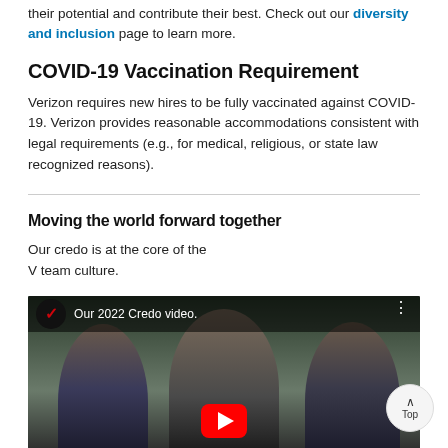their potential and contribute their best. Check out our diversity and inclusion page to learn more.
COVID-19 Vaccination Requirement
Verizon requires new hires to be fully vaccinated against COVID-19. Verizon provides reasonable accommodations consistent with legal requirements (e.g., for medical, religious, or state law recognized reasons).
Moving the world forward together
Our credo is at the core of the V team culture.
[Figure (screenshot): Video thumbnail for 'Our 2022 Credo video.' showing three smiling children with Verizon logo and YouTube play button]